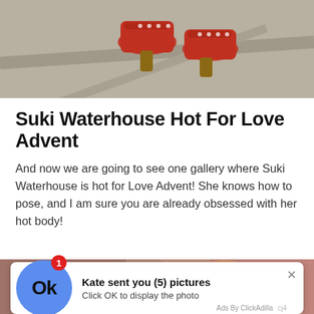[Figure (photo): Close-up photo of red high-heeled shoes/sandals walking on pavement, shot from low angle]
Suki Waterhouse Hot For Love Advent
And now we are going to see one gallery where Suki Waterhouse is hot for Love Advent! She knows how to pose, and I am sure you are already obsessed with her hot body!
[Figure (photo): Blurry photo of people at what appears to be a party or outdoor gathering, with tropical plants visible; overlaid with an ad notification popup reading 'Kate sent you (5) pictures - Click OK to display the photo - Ads By ClickAdilla']